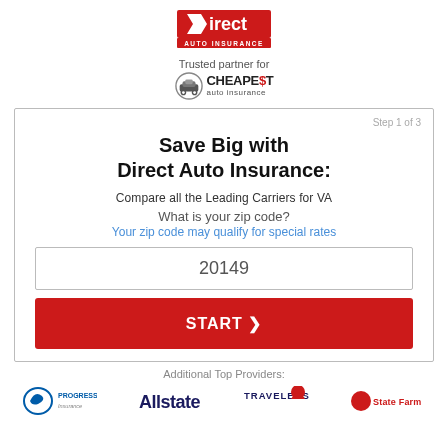[Figure (logo): Direct Auto Insurance logo in red with white banner subtitle]
Trusted partner for
[Figure (logo): Cheapest Auto Insurance logo with car icon]
Save Big with Direct Auto Insurance:
Compare all the Leading Carriers for VA
What is your zip code?
Your zip code may qualify for special rates
20149
START ›
Additional Top Providers:
[Figure (logo): Progressive logo]
[Figure (logo): Allstate logo]
[Figure (logo): Travelers logo]
[Figure (logo): State Farm logo]